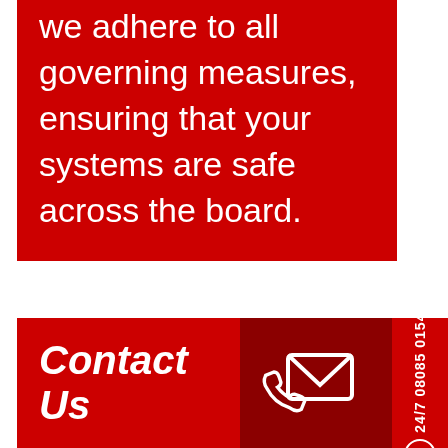we adhere to all governing measures, ensuring that your systems are safe across the board.
Contact Us
[Figure (illustration): Phone and envelope contact icon (white outline on dark red background)]
We are available 24 hours a day, 7 days a week to answer your call. For our emergency call out service, phone 08009178583. To learn more information about our maintenance and repairs services, send an email to
24/7 08085 015480